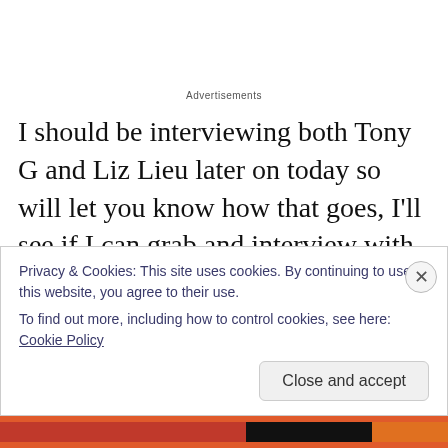Advertisements
I should be interviewing both Tony G and Liz Lieu later on today so will let you know how that goes, I'll see if I can grab and interview with Antonio Esfandiari a bit later on as well.
Right, well I'm off to grab me a V6 racing camel and a small monkey in a fez, tune in tomorrow for more updates
Privacy & Cookies: This site uses cookies. By continuing to use this website, you agree to their use.
To find out more, including how to control cookies, see here: Cookie Policy
Close and accept